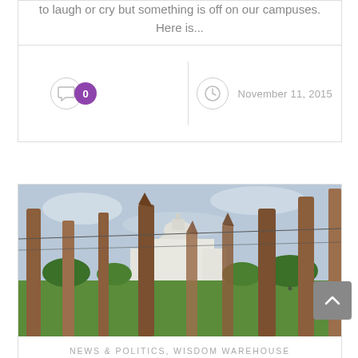to laugh or cry but something is off on our campuses. Here is...
0
November 11, 2015
[Figure (photo): Photo showing wooden fence posts with barbed wire in foreground, US Capitol building visible in background across a green lawn, taken on a clear day]
NEWS & POLITICS, WISDOM WAREHOUSE